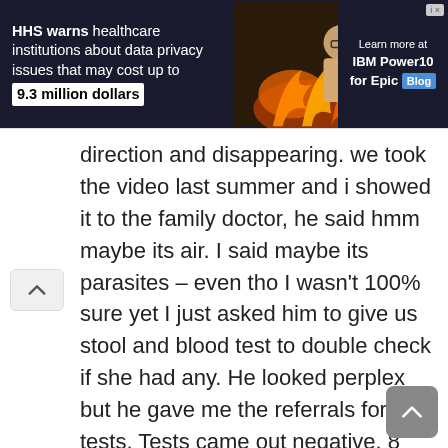[Figure (screenshot): Banner advertisement: HHS warns healthcare institutions about data privacy issues that may cost up to 9.3 million dollars. Learn more at IBM Power10 for Epic Blog.]
direction and disappearing. we took the video last summer and i showed it to the family doctor, he said hmm maybe its air. I said maybe its parasites – even tho I wasn't 100% sure yet I just asked him to give us stool and blood test to double check if she had any. He looked perplex but he gave me the referrals for the tests. Tests came out negative. 8 months later, after I have been doing countless research i made it ! I finally found the solution and I was right all along. the ball was a mass of parasites moving in my mums intestines. She became so skinny since 2 years, I believe it is because of them. I hope then once I am done cleansing her she will